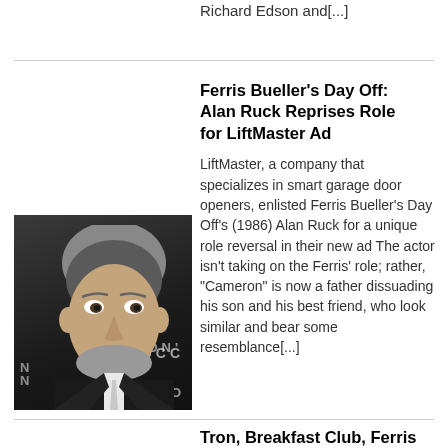Richard Edson and[...]
Ferris Bueller's Day Off: Alan Ruck Reprises Role for LiftMaster Ad
[Figure (photo): Photo of Alan Ruck in a dark suit with white tie, standing in front of a Succession TV show backdrop with 'SUCC', 'ON', 'CO' text visible]
LiftMaster, a company that specializes in smart garage door openers, enlisted Ferris Bueller's Day Off's (1986) Alan Ruck for a unique role reversal in their new ad The actor isn't taking on the Ferris' role; rather, "Cameron" is now a father dissuading his son and his best friend, who look similar and bear some resemblance[...]
Tron, Breakfast Club, Ferris